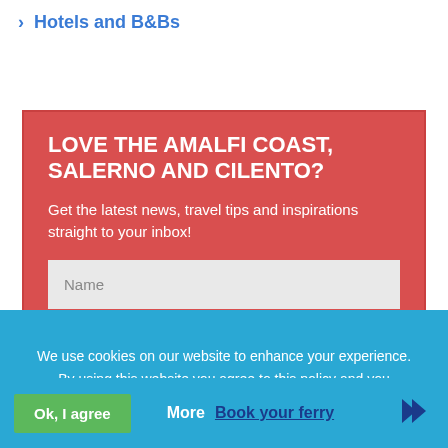> Hotels and B&Bs
LOVE THE AMALFI COAST, SALERNO AND CILENTO?
Get the latest news, travel tips and inspirations straight to your inbox!
Name
E-mail
We use cookies on our website to enhance your experience. By using this website you agree to this policy and you consent to our use of cookies.
Ok, I agree
More
Book your ferry